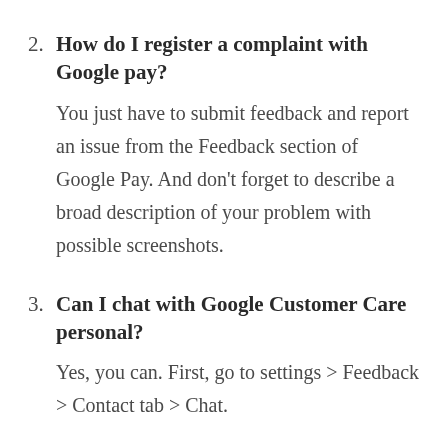2. How do I register a complaint with Google pay? You just have to submit feedback and report an issue from the Feedback section of Google Pay. And don't forget to describe a broad description of your problem with possible screenshots.
3. Can I chat with Google Customer Care personal? Yes, you can. First, go to settings > Feedback > Contact tab > Chat.